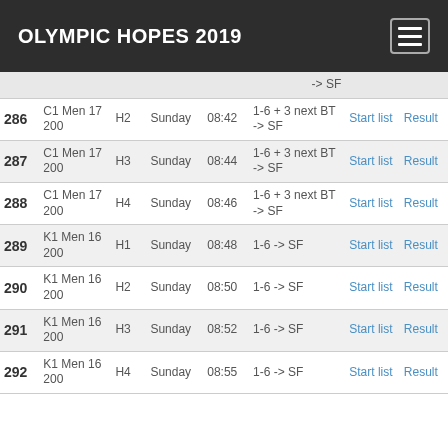OLYMPIC HOPES 2019
| # | Event | Heat | Day | Time | Progression | Start list | Result |
| --- | --- | --- | --- | --- | --- | --- | --- |
| 286 | C1 Men 17 200 | H2 | Sunday | 08:42 | 1-6 + 3 next BT -> SF | Start list | Result |
| 287 | C1 Men 17 200 | H3 | Sunday | 08:44 | 1-6 + 3 next BT -> SF | Start list | Result |
| 288 | C1 Men 17 200 | H4 | Sunday | 08:46 | 1-6 + 3 next BT -> SF | Start list | Result |
| 289 | K1 Men 16 200 | H1 | Sunday | 08:48 | 1-6 -> SF | Start list | Result |
| 290 | K1 Men 16 200 | H2 | Sunday | 08:50 | 1-6 -> SF | Start list | Result |
| 291 | K1 Men 16 200 | H3 | Sunday | 08:52 | 1-6 -> SF | Start list | Result |
| 292 | K1 Men 16 200 | H4 | Sunday | 08:55 | 1-6 -> SF | Start list | Result |